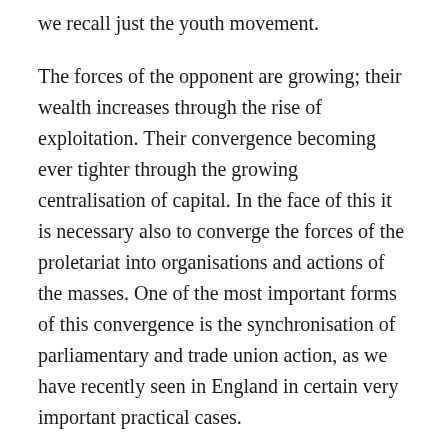we recall just the youth movement.
The forces of the opponent are growing; their wealth increases through the rise of exploitation. Their convergence becoming ever tighter through the growing centralisation of capital. In the face of this it is necessary also to converge the forces of the proletariat into organisations and actions of the masses. One of the most important forms of this convergence is the synchronisation of parliamentary and trade union action, as we have recently seen in England in certain very important practical cases.
In this process we do not have to expect a growing unimportance of either the trade unions or the parliamentary factions, but much more a giant increase in their tasks and their struggles and therewith also